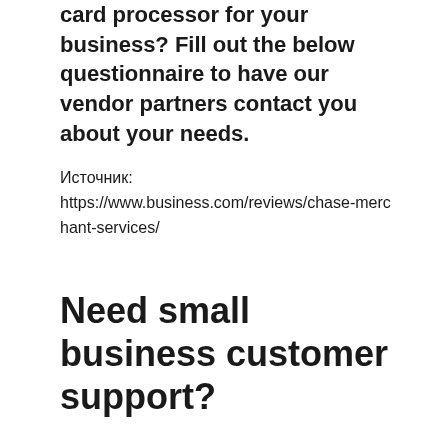card processor for your business? Fill out the below questionnaire to have our vendor partners contact you about your needs.
Источник: https://www.business.com/reviews/chase-merchant-services/
Need small business customer support?
Looking for information on the